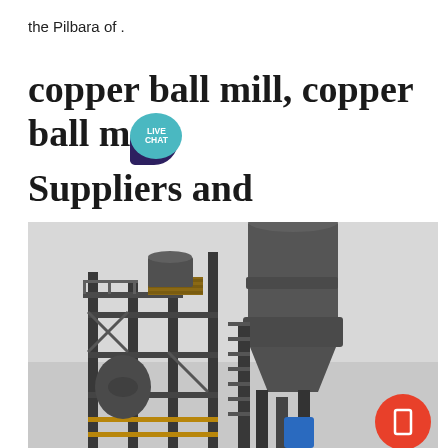the Pilbara of .
copper ball mill, copper ball m... Suppliers and
[Figure (photo): Industrial ball mill or grinding facility with large cylindrical tanks, metal framework, staircases, and industrial equipment. Dark gray structures against an overcast sky. A blue container is visible at the base. Red circular button overlay in bottom right.]